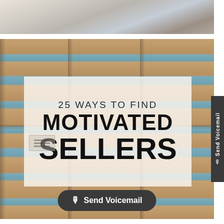[Figure (photo): Top partial image showing what appears to be a desk flatlay with paper, fabric, and notebooks in neutral tones]
[Figure (photo): Weathered rustic wooden door with peeling blue-teal paint over bare wood panels, serving as background for text overlay]
25 WAYS TO FIND MOTIVATED SELLERS
Send Voicemail
Send Voicemail